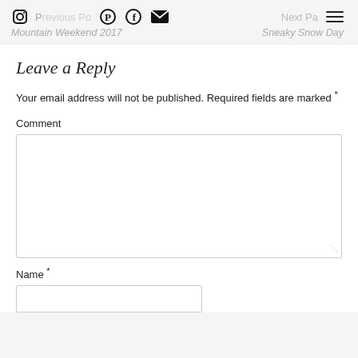Previous Post Mountain Weekend 2017 | Next Post Sneaky Snow Day
Leave a Reply
Your email address will not be published. Required fields are marked *
Comment
Name *